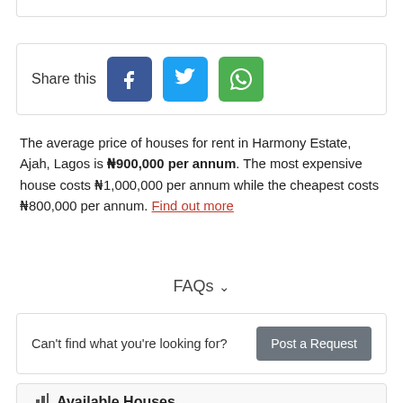[Figure (other): Social share buttons: Facebook (blue), Twitter (light blue), WhatsApp (green) with 'Share this' label]
The average price of houses for rent in Harmony Estate, Ajah, Lagos is ₦900,000 per annum. The most expensive house costs ₦1,000,000 per annum while the cheapest costs ₦800,000 per annum. Find out more
FAQs ∨
Can't find what you're looking for? Post a Request
Available Houses